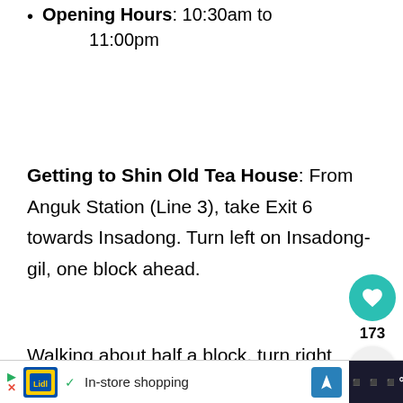Opening Hours: 10:30am to 11:00pm
Getting to Shin Old Tea House: From Anguk Station (Line 3), take Exit 6 towards Insadong. Turn left on Insadong-gil, one block ahead.
Walking about half a block, turn right small alley just before seeing Ssamziegil on
[Figure (other): Social sidebar with heart/like button (teal circle, heart icon), like count 173, and share button (gray circle, share icon)]
[Figure (other): What's Next widget with orange label, thumbnail image, and text: The BEST Things to D...]
[Figure (other): Ad bar at the bottom: Lidl logo, checkmark, In-store shopping text, navigation arrow icon, and dark right section]